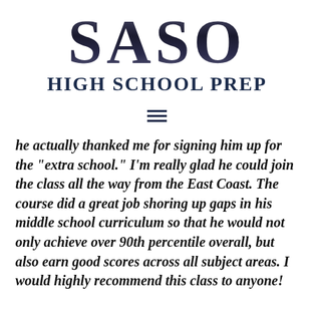[Figure (logo): SASO High School Prep logo with large bold serif letters 'SASO' in dark metallic style and subtitle 'HIGH SCHOOL PREP' in dark navy bold serif]
[Figure (other): Hamburger menu icon — three horizontal dark navy lines]
he actually thanked me for signing him up for the "extra school." I'm really glad he could join the class all the way from the East Coast. The course did a great job shoring up gaps in his middle school curriculum so that he would not only achieve over 90th percentile overall, but also earn good scores across all subject areas. I would highly recommend this class to anyone!